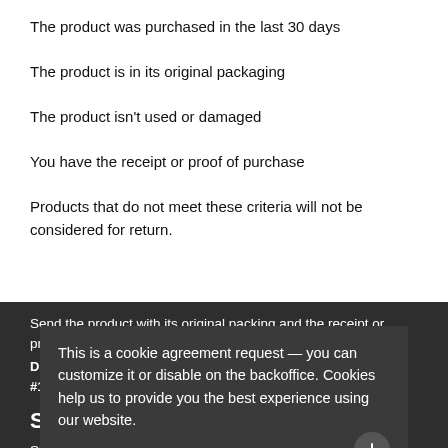The product was purchased in the last 30 days
The product is in its original packaging
The product isn't used or damaged
You have the receipt or proof of purchase
Products that do not meet these criteria will not be considered for return.
Send the product with its original packing and the receipt or proof of purchase, to:
Double D Combat Sports USA Inc., 22832 Quicksilver Drive, #101, Sterling, VA, 20166
Shipping charges
Shipping charges incurred in connection with the return of a product are non-refundable.
This is a cookie agreement request — you can customize it or disable on the backoffice. Cookies help us to provide you the best experience using our website.